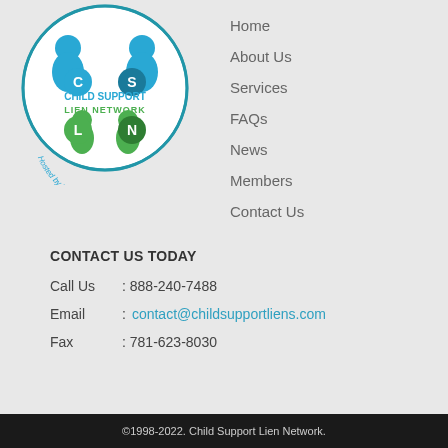[Figure (logo): Child Support Lien Network logo — circular badge with stylized figures in blue and green, text 'CHILD SUPPORT LIEN NETWORK' with letters C, S, L, N, and tagline 'Hosted by the State of Rhode Island']
Home
About Us
Services
FAQs
News
Members
Contact Us
CONTACT US TODAY
Call Us   : 888-240-7488
Email     : contact@childsupportliens.com
Fax       : 781-623-8030
©1998-2022. Child Support Lien Network.